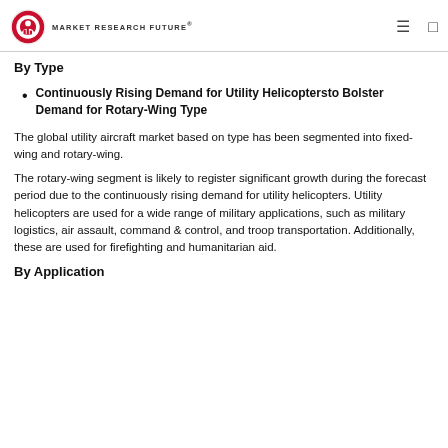Market Research Future®
By Type
Continuously Rising Demand for Utility Helicoptersto Bolster Demand for Rotary-Wing Type
The global utility aircraft market based on type has been segmented into fixed-wing and rotary-wing.
The rotary-wing segment is likely to register significant growth during the forecast period due to the continuously rising demand for utility helicopters. Utility helicopters are used for a wide range of military applications, such as military logistics, air assault, command & control, and troop transportation. Additionally, these are used for firefighting and humanitarian aid.
By Application